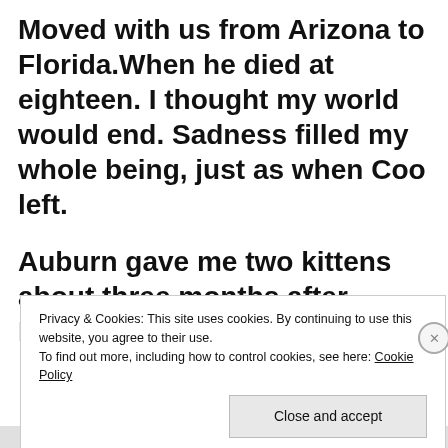Moved with us from Arizona to Florida.When he died at eighteen. I thought my world would end. Sadness filled my whole being, just as when Coo left.
Auburn gave me two kittens about three months after Pumpkin died.
Privacy & Cookies: This site uses cookies. By continuing to use this website, you agree to their use.
To find out more, including how to control cookies, see here: Cookie Policy
Close and accept